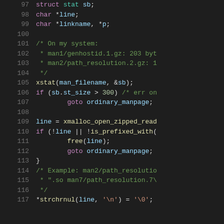[Figure (screenshot): Source code listing (C language) showing lines 97-117 with syntax highlighting on a dark background. Lines include variable declarations (struct stat sb, char *line, char *linkname *p), comments about file sizes, xstat call, conditional checking sb.st_size > 300 with goto ordinary_manpage, xmalloc_open_zipped_read call, is_prefixed_with check, free and goto statements, closing brace, another comment block about path_resolution, and *strchrnul call.]